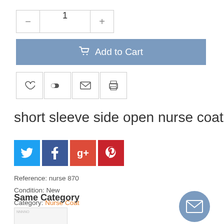[Figure (other): Quantity selector with minus button, input showing 1, and plus button]
[Figure (other): Add to Cart button with shopping cart icon]
[Figure (other): Row of 4 action icon buttons: heart (wishlist), toggle/compare, email, print]
short sleeve side open nurse coat
[Figure (other): Social share buttons: Twitter, Facebook, Google+, Pinterest]
Reference: nurse 870
Condition: New
Category: Nurse Coat
Same Category
[Figure (photo): Product thumbnail showing a nurse coat with blue horizontal stripes at the bottom]